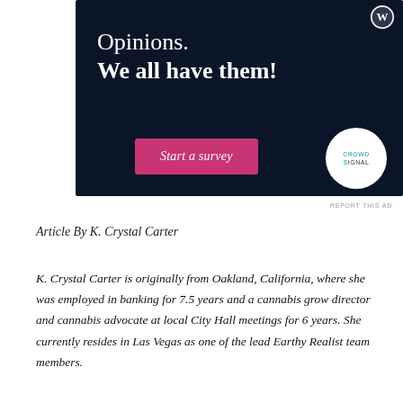[Figure (infographic): Dark navy advertisement banner for Crowdsignal featuring 'Opinions. We all have them!' text, a pink 'Start a survey' button, and the Crowdsignal logo circle, with a WordPress logo top right.]
REPORT THIS AD
Article By K. Crystal Carter
K. Crystal Carter is originally from Oakland, California, where she was employed in banking for 7.5 years and a cannabis grow director and cannabis advocate at local City Hall meetings for 6 years. She currently resides in Las Vegas as one of the lead Earthy Realist team members.